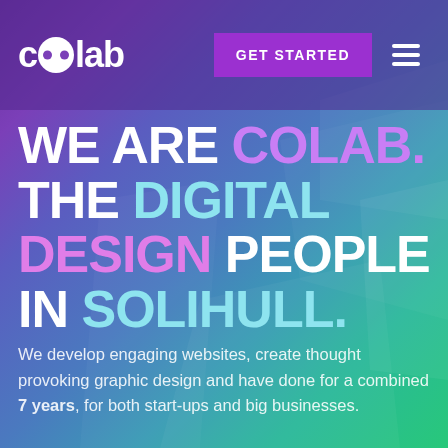colab  GET STARTED  ☰
WE ARE COLAB. THE DIGITAL DESIGN PEOPLE IN SOLIHULL.
We develop engaging websites, create thought provoking graphic design and have done for a combined 7 years, for both start-ups and big businesses.